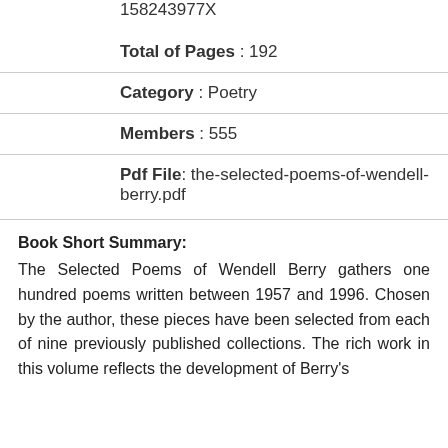158243977X
Total of Pages : 192
Category : Poetry
Members : 555
Pdf File: the-selected-poems-of-wendell-berry.pdf
Book Short Summary:
The Selected Poems of Wendell Berry gathers one hundred poems written between 1957 and 1996. Chosen by the author, these pieces have been selected from each of nine previously published collections. The rich work in this volume reflects the development of Berry's